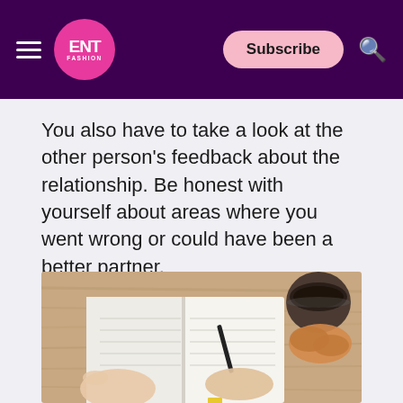ENT FASHION — Subscribe
You also have to take a look at the other person's feedback about the relationship. Be honest with yourself about areas where you went wrong or could have been a better partner.
[Figure (photo): Overhead view of a woman's hands writing in an open notebook on a wooden table, with a dark coffee cup and a croissant visible in the top right corner.]